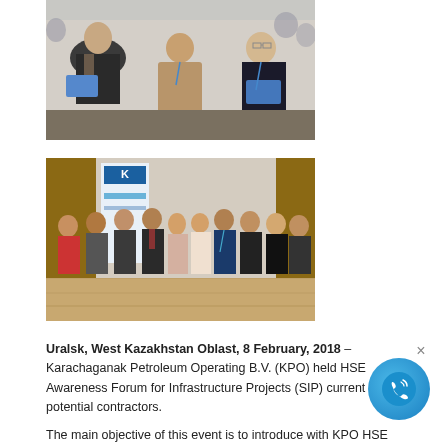[Figure (photo): Audience seated at a conference, including a woman and two men in formal attire holding blue folders, looking toward a presentation.]
[Figure (photo): Group photo of approximately ten people standing together in a conference room with a banner in the background, posing for the camera.]
Uralsk, West Kazakhstan Oblast, 8 February, 2018 – Karachaganak Petroleum Operating B.V. (KPO) held HSE Awareness Forum for Infrastructure Projects (SIP) current and potential contractors.
The main objective of this event is to introduce with KPO HSE requirements...